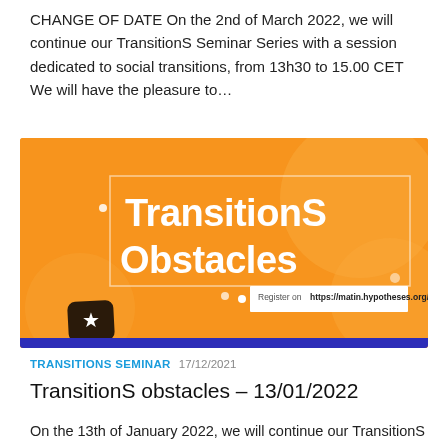CHANGE OF DATE On the 2nd of March 2022, we will continue our TransitionS Seminar Series with a session dedicated to social transitions, from 13h30 to 15.00 CET We will have the pleasure to…
[Figure (illustration): Orange banner image for TransitionS Obstacles seminar with large white text reading 'TransitionS Obstacles', a registration box with URL https://matin.hypotheses.org/, a dark diamond shape with star icon at bottom left, and a blue stripe at bottom.]
TRANSITIONS SEMINAR  17/12/2021
TransitionS obstacles – 13/01/2022
On the 13th of January 2022, we will continue our TransitionS